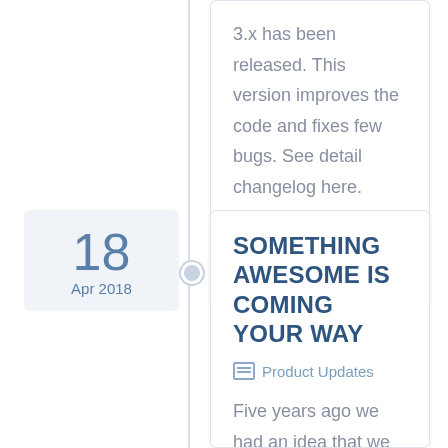3.x has been released. This version improves the code and fixes few bugs. See detail changelog here.
18
Apr 2018
SOMETHING AWESOME IS COMING YOUR WAY
Product Updates
Five years ago we had an idea that we knew it will